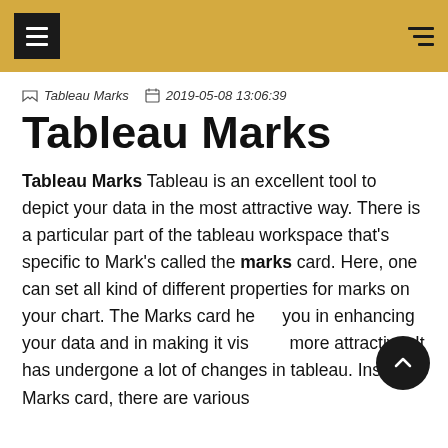Tableau Marks | 2019-05-08 13:06:39
Tableau Marks   2019-05-08 13:06:39
Tableau Marks
Tableau Marks Tableau is an excellent tool to depict your data in the most attractive way. There is a particular part of the tableau workspace that's specific to Mark's called the marks card. Here, one can set all kind of different properties for marks on your chart. The Marks card helps you in enhancing your data and in making it visually more attractive. It has undergone a lot of changes in tableau. Inside Marks card, there are various